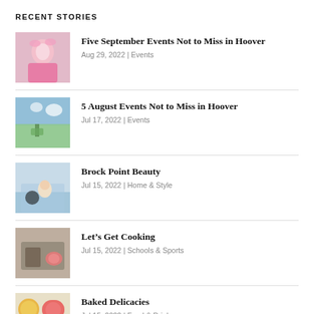RECENT STORIES
Five September Events Not to Miss in Hoover | Aug 29, 2022 | Events
5 August Events Not to Miss in Hoover | Jul 17, 2022 | Events
Brock Point Beauty | Jul 15, 2022 | Home & Style
Let’s Get Cooking | Jul 15, 2022 | Schools & Sports
Baked Delicacies | Jul 15, 2022 | Food & Drink